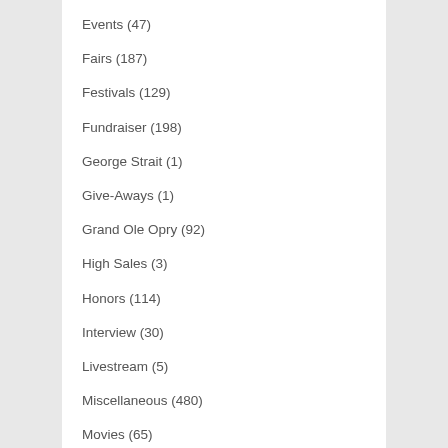Events (47)
Fairs (187)
Festivals (129)
Fundraiser (198)
George Strait (1)
Give-Aways (1)
Grand Ole Opry (92)
High Sales (3)
Honors (114)
Interview (30)
Livestream (5)
Miscellaneous (480)
Movies (65)
New Artists (845)
New Releases (2,562)
News (2,085)
Nominations (61)
NRA Country (10)